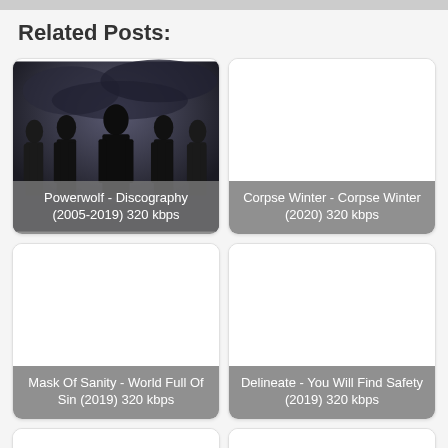Related Posts:
[Figure (photo): Powerwolf band photo - dark metal band with five members in black clothing against a dark sky background. Card label: Powerwolf - Discography (2005-2019) 320 kbps]
[Figure (photo): Empty white card with label: Corpse Winter - Corpse Winter (2020) 320 kbps]
[Figure (photo): Empty white card with label: Mask Of Sanity - World Full Of Sin (2019) 320 kbps]
[Figure (photo): Empty white card with label: Delineate - You Will Find Safety (2019) 320 kbps]
[Figure (photo): Empty white card (partial, bottom row left)]
[Figure (photo): Empty white card (partial, bottom row right)]